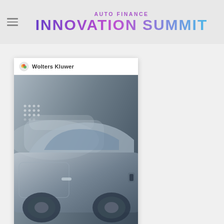AUTO FINANCE INNOVATION SUMMIT
[Figure (illustration): eOriginal case study brochure cover showing two silver cars with text 'How Westlake Went from 0 to 45,000 Digital Contracts in Less Than a Year' and Wolters Kluwer and eOriginal logos]